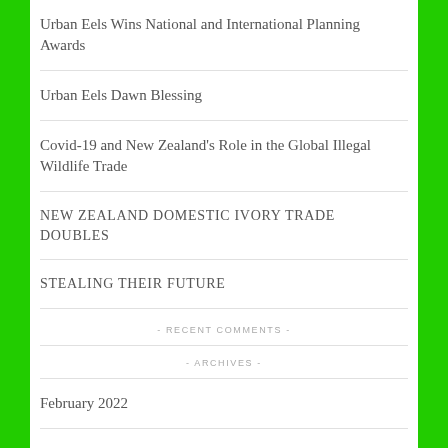Urban Eels Wins National and International Planning Awards
Urban Eels Dawn Blessing
Covid-19 and New Zealand's Role in the Global Illegal Wildlife Trade
NEW ZEALAND DOMESTIC IVORY TRADE DOUBLES
STEALING THEIR FUTURE
- RECENT COMMENTS -
- ARCHIVES -
February 2022
August 2020